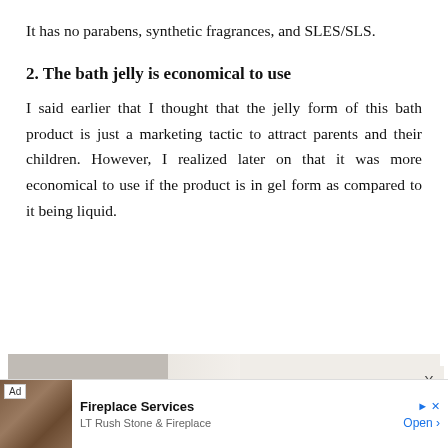It has no parabens, synthetic fragrances, and SLES/SLS.
2. The bath jelly is economical to use
I said earlier that I thought that the jelly form of this bath product is just a marketing tactic to attract parents and their children. However, I realized later on that it was more economical to use if the product is in gel form as compared to it being liquid.
[Figure (photo): Partial photo showing what appears to be a bath/spa product with yellow flowers or fruit, on a light background. An X button is visible in the top right corner of the photo area.]
[Figure (other): Advertisement banner at bottom: Ad label with fireplace image, 'Fireplace Services' by 'LT Rush Stone & Fireplace', Open button, with play and close icons.]